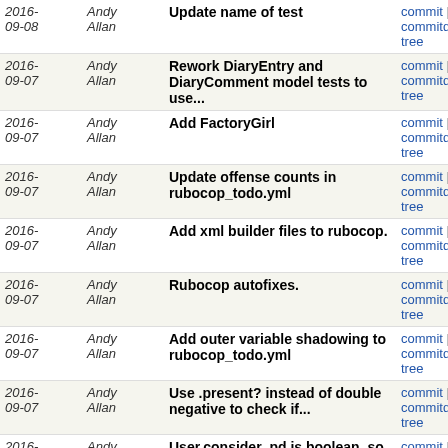| Date | Author | Message | Links |
| --- | --- | --- | --- |
| 2016-09-08 | Andy Allan | Update name of test | commit | commitdiff | tree |
| 2016-09-07 | Andy Allan | Rework DiaryEntry and DiaryComment model tests to use... | commit | commitdiff | tree |
| 2016-09-07 | Andy Allan | Add FactoryGirl | commit | commitdiff | tree |
| 2016-09-07 | Andy Allan | Update offense counts in rubocop_todo.yml | commit | commitdiff | tree |
| 2016-09-07 | Andy Allan | Add xml builder files to rubocop. | commit | commitdiff | tree |
| 2016-09-07 | Andy Allan | Rubocop autofixes. | commit | commitdiff | tree |
| 2016-09-07 | Andy Allan | Add outer variable shadowing to rubocop_todo.yml | commit | commitdiff | tree |
| 2016-09-07 | Andy Allan | Use .present? instead of double negative to check if... | commit | commitdiff | tree |
| 2016-09-07 | Andy Allan | User.consider_pd is boolean, so no need for double... | commit | commitdiff | tree |
| 2016-04-22 | Andy Allan | Remove database readme | commit | commitdiff | tree |
| 2016-04-22 | Andy Allan | Remove 9 year old warning | commit | commitdiff | tree |
| 2016-04-22 | Andy Allan | Remove old config files. | commit | commitdiff | tree |
| 2014-06-19 | Andy Allan | Remove ancient documentation. | commit | commitdiff | tree |
| 2013- | Andy Allan | Fix openid "remember me" label | commit | commitdiff |